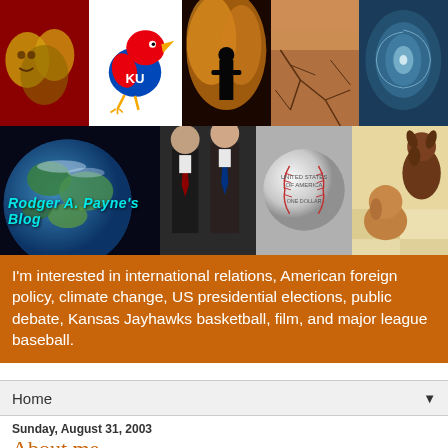[Figure (photo): Blog header photo collage with 9 images: theatre masks, KU Jayhawks logo, fire/silhouette, cracked earth, hurricane, earth globe with blog title overlay 'Rodger A. Payne's Blog', people in suits, silver baseball, and two dogs on checkered floor]
I'm interested in international relations, American foreign policy, climate change, US presidential elections, public debate, Kansas Jayhawks basketball, film, and major league baseball.
Home ▼
Sunday, August 31, 2003
About me